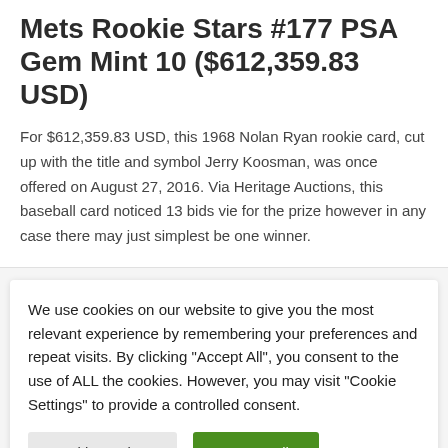Mets Rookie Stars #177 PSA Gem Mint 10 ($612,359.83 USD)
For $612,359.83 USD, this 1968 Nolan Ryan rookie card, cut up with the title and symbol Jerry Koosman, was once offered on August 27, 2016. Via Heritage Auctions, this baseball card noticed 13 bids vie for the prize however in any case there may just simplest be one winner.
We use cookies on our website to give you the most relevant experience by remembering your preferences and repeat visits. By clicking "Accept All", you consent to the use of ALL the cookies. However, you may visit "Cookie Settings" to provide a controlled consent.